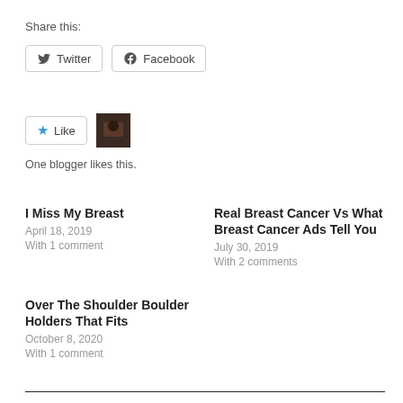Share this:
Twitter
Facebook
Like
One blogger likes this.
I Miss My Breast
April 18, 2019
With 1 comment
Real Breast Cancer Vs What Breast Cancer Ads Tell You
July 30, 2019
With 2 comments
Over The Shoulder Boulder Holders That Fits
October 8, 2020
With 1 comment